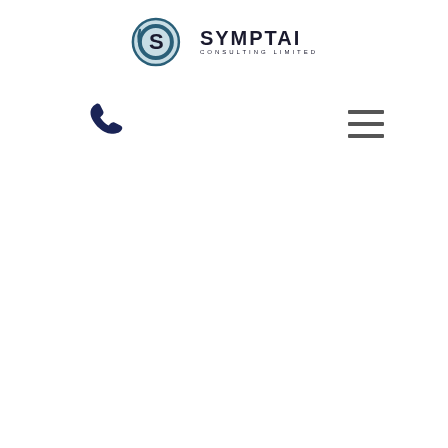[Figure (logo): Symptai Consulting Limited logo — circular blue swirl icon on the left, 'SYMPTAI' in large bold text, 'CONSULTING LIMITED' in small spaced capitals below, centered at top of page]
[Figure (illustration): Dark navy telephone handset icon (unicode phone symbol), positioned in the left-center area of the page]
[Figure (illustration): Three horizontal dark grey lines (hamburger menu icon), positioned in the right-center area of the page]